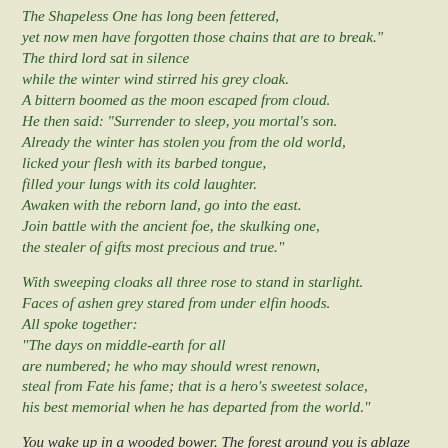The Shapeless One has long been fettered,
yet now men have forgotten those chains that are to break."
The third lord sat in silence
while the winter wind stirred his grey cloak.
A bittern boomed as the moon escaped from cloud.
He then said: "Surrender to sleep, you mortal's son.
Already the winter has stolen you from the old world,
licked your flesh with its barbed tongue,
filled your lungs with its cold laughter.
Awaken with the reborn land, go into the east.
Join battle with the ancient foe, the skulking one,
the stealer of gifts most precious and true."
With sweeping cloaks all three rose to stand in starlight.
Faces of ashen grey stared from under elfin hoods.
All spoke together:
"The days on middle-earth for all
are numbered; he who may should wrest renown,
steal from Fate his fame; that is a hero's sweetest solace,
his best memorial when he has departed from the world."
You wake up in a wooded bower. The forest around you is ablaze